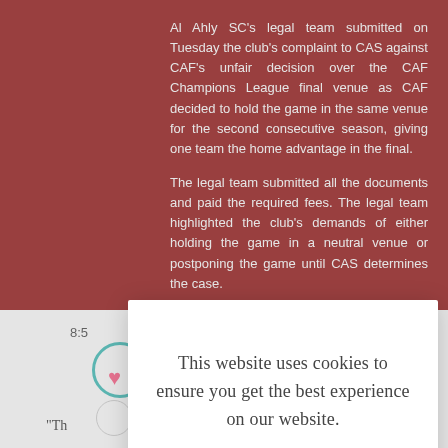Al Ahly SC's legal team submitted on Tuesday the club's complaint to CAS against CAF's unfair decision over the CAF Champions League final venue as CAF decided to hold the game in the same venue for the second consecutive season, giving one team the home advantage in the final.
The legal team submitted all the documents and paid the required fees. The legal team highlighted the club's demands of either holding the game in a neutral venue or postponing the game until CAS determines the case.
[Figure (screenshot): Cookie consent modal dialog overlaying an article page with dark red background. Modal shows cookie notice text, LEARN MORE link, and ACCEPT COOKIES button.]